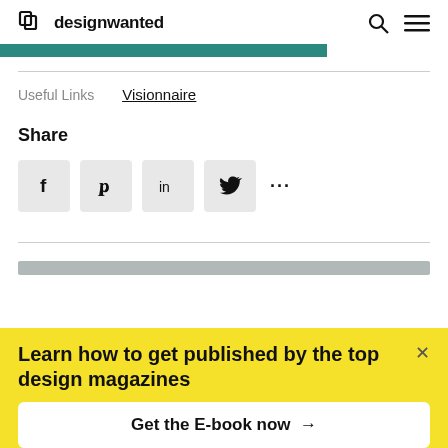designwanted
Useful Links   Visionnaire
Share
f   p   in   (twitter)   ...
Learn how to get published by the top design magazines
Get the E-book now →